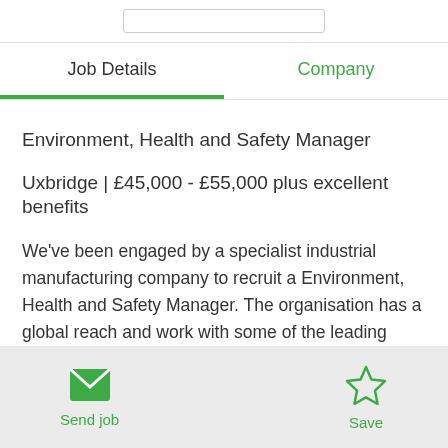Job Details
Company
Environment, Health and Safety Manager
Uxbridge | £45,000 - £55,000 plus excellent benefits
We've been engaged by a specialist industrial manufacturing company to recruit a Environment, Health and Safety Manager. The organisation has a global reach and work with some of the leading
Send job | Save